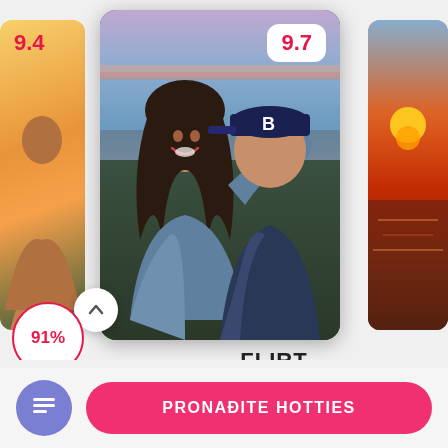[Figure (screenshot): Dating app carousel showing three cards. Left partial card with score 9.4, center main card with photo of couple hugging and score badge 9.7, right partial card with sunset background. Below center card: name FLIRT, rating 9.7/10 with stars.]
9.4
9.7
FLIRT
9.7/10
91%
PRONAĐITE HOTTIES